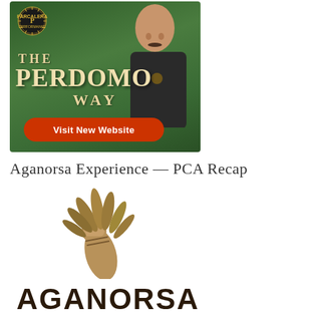[Figure (illustration): Perdomo cigar brand advertisement showing a man in a black shirt against a green tobacco field background, with text 'THE PERDOMO WAY' and an orange button 'Visit New Website', with a circular Perdomo badge/logo in the top left.]
Aganorsa Experience — PCA Recap
[Figure (logo): Aganorsa brand logo: an illustrated arm/fist holding a palm frond or tobacco leaf, above the bold uppercase text 'AGANORSA'.]